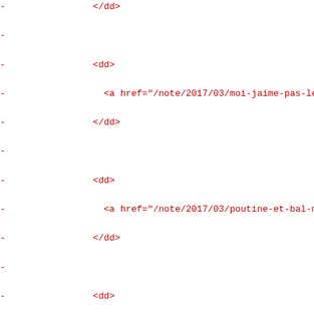-                </dd>
-
-                <dd>
-                  <a href="/note/2017/03/moi-jaime-pas-les
-                </dd>
-
-                <dd>
-                  <a href="/note/2017/03/poutine-et-bal-ma
-                </dd>
-
-                <dd>
-                  <a href="/note/2017/03/presentation-de-r
-                </dd>
-
-                <dd>
-                  <a href="/note/2017/03/revanche-des-libr
-                </dd>
-
-                <dd>
-                  <a href="/note/2017/03/si-les-etats-unis
-                </dd>
-
-                <dd>
-                  <a href="/note/2017/03/vider-le-filelist
-                </dd>
-
-                <dd>
-                  <a href="/note/2017/03/vuejs-templates-a
-                </dd>
-